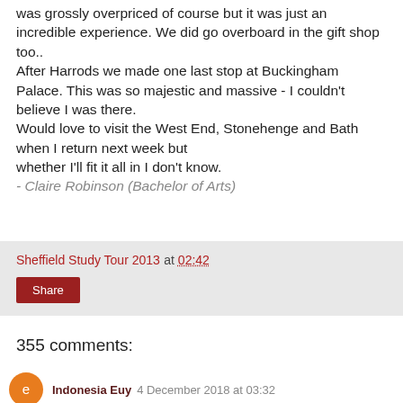was grossly overpriced of course but it was just an incredible experience. We did go overboard in the gift shop too.. After Harrods we made one last stop at Buckingham Palace. This was so majestic and massive - I couldn't believe I was there.
Would love to visit the West End, Stonehenge and Bath when I return next week but whether I'll fit it all in I don't know.
- Claire Robinson (Bachelor of Arts)
Sheffield Study Tour 2013 at 02:42
Share
355 comments:
Indonesia Euy 4 December 2018 at 03:32